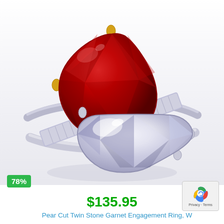[Figure (photo): Product photo of a Pear Cut Twin Stone Garnet Engagement Ring with white diamond and red garnet pear-cut stones set in silver/platinum with baguette side stones and yellow gold prongs on the garnet]
78%
$135.95
Pear Cut Twin Stone Garnet Engagement Ring, W